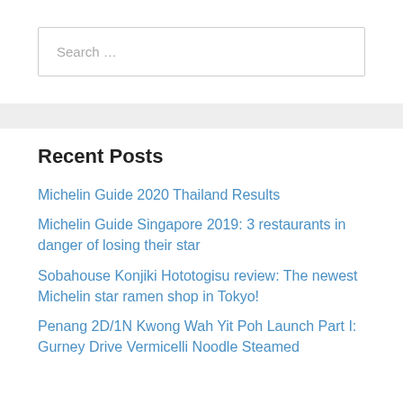Search …
Recent Posts
Michelin Guide 2020 Thailand Results
Michelin Guide Singapore 2019: 3 restaurants in danger of losing their star
Sobahouse Konjiki Hototogisu review: The newest Michelin star ramen shop in Tokyo!
Penang 2D/1N Kwong Wah Yit Poh Launch Part I: Gurney Drive Vermicelli Noodle Steamed